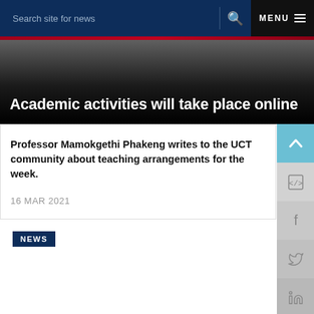Search site for news   MENU
Academic activities will take place online
Professor Mamokgethi Phakeng writes to the UCT community about teaching arrangements for the week.
16 MAR 2021
NEWS